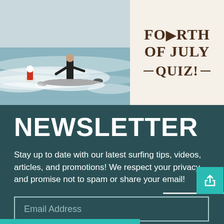[Figure (photo): Two surfers on waves, one on a paddleboard, action surfing scene with white water]
FOURTH OF JULY QUIZ!
NEWSLETTER
Stay up to date with our latest surfing tips, videos, articles, and promotions! We respect your privacy and promise not to spam or share your email!
Email Address